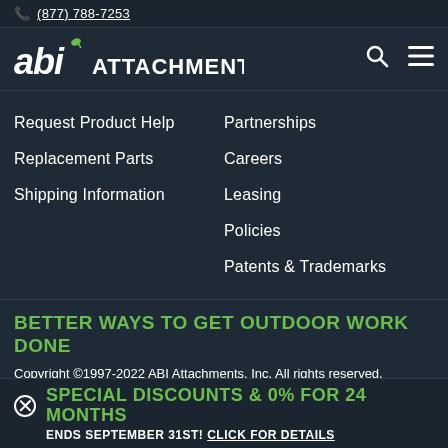(877) 788-7253
[Figure (logo): ABI Attachments logo — stylized lowercase 'abi' with green leaf accent dot over the i, followed by 'ATTACHMENTS' in white uppercase bold]
Request Product Help
Replacement Parts
Shipping Information
Partnerships
Careers
Leasing
Policies
Patents & Trademarks
BETTER WAYS TO GET OUTDOOR WORK DONE
Copyright ©1997-2022 ABI Attachments, Inc. All rights reserved. Prices, availability, & product specs subject to change without notice.
SPECIAL DISCOUNTS & 0% FOR 24 MONTHS ENDS SEPTEMBER 31ST! CLICK FOR DETAILS